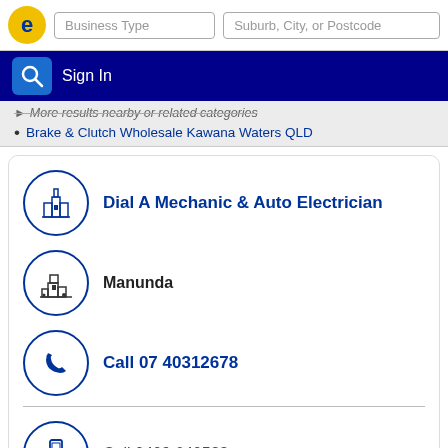Business Type | Suburb, City, or Postcode | Sign In
More results nearby or related categories
Brake & Clutch Wholesale Kawana Waters QLD
Dial A Mechanic & Auto Electrician
Manunda
Call 07 40312678
Call 0409 640538
Brake & Clutch Equipment - M/factrs &/or W/salers